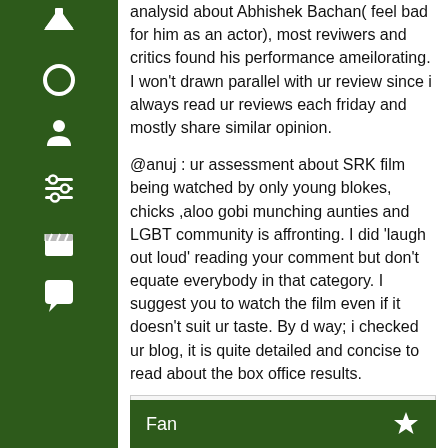[Figure (other): Dark green vertical sidebar with white icons: up arrow, circle, person/users, sliders, clapperboard, speech bubble]
analysid about Abhishek Bachan( feel bad for him as an actor), most reviwers and critics found his performance ameilorating. I won't drawn parallel with ur review since i always read ur reviews each friday and mostly share similar opinion.

@anuj : ur assessment about SRK film being watched by only young blokes, chicks ,aloo gobi munching aunties and LGBT community is affronting. I did 'laugh out loud' reading your comment but don't equate everybody in that category. I suggest you to watch the film even if it doesn't suit ur taste. By d way; i checked ur blog, it is quite detailed and concise to read about the box office results.
guddu has given this movie a So-So(Happy New Year). guddu has posted 143 comments and has rated 73 movies. See guddu's page for more details.
Fan